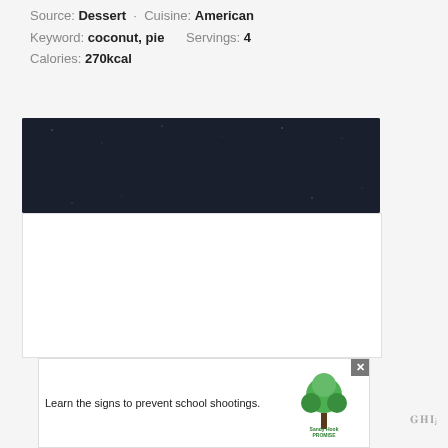Source: Dessert · Cuisine: American
Keyword: coconut, pie    Servings: 4
Calories: 270kcal
[Figure (illustration): Dark navy banner with white bold text reading SHE CAN STEM]
[Figure (illustration): Advertisement banner: Learn the signs to prevent school shootings. Sandy Hook Promise logo with green tree. Close button X in top right.]